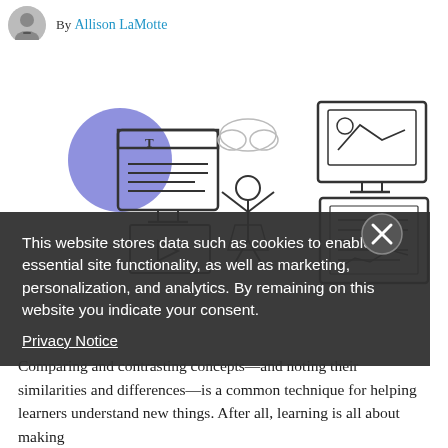By Allison LaMotte
[Figure (illustration): Line drawing illustration showing a stick figure person with raised arms surrounded by three computer/monitor-like objects displaying text, images, and video content. A purple circle accent on the left side.]
This website stores data such as cookies to enable essential site functionality, as well as marketing, personalization, and analytics. By remaining on this website you indicate your consent.
Privacy Notice
Comparing and contrasting concepts—and noting their similarities and differences—is a common technique for helping learners understand new things. After all, learning is all about making